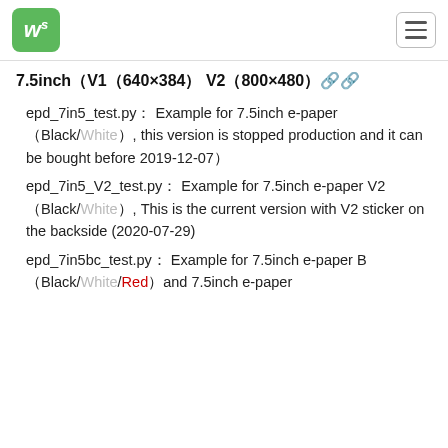Waveshare logo and navigation
7.5inch（V1）640×384） V2（800×480）🔗🔗
epd_7in5_test.py： Example for 7.5inch e-paper（Black/White）, this version is stopped production and it can be bought before 2019-12-07）
epd_7in5_V2_test.py： Example for 7.5inch e-paper V2（Black/White）, This is the current version with V2 sticker on the backside (2020-07-29)
epd_7in5bc_test.py： Example for 7.5inch e-paper B（Black/White/Red）and 7.5inch e-paper